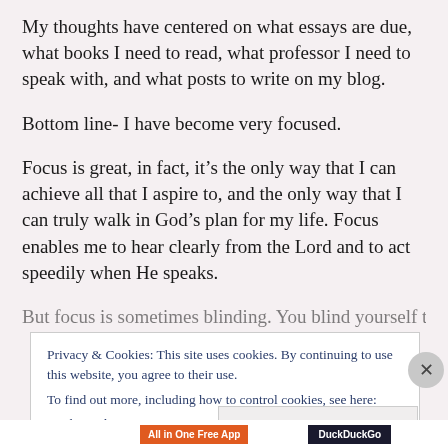My thoughts have centered on what essays are due, what books I need to read, what professor I need to speak with, and what posts to write on my blog.
Bottom line- I have become very focused.
Focus is great, in fact, it’s the only way that I can achieve all that I aspire to, and the only way that I can truly walk in God’s plan for my life. Focus enables me to hear clearly from the Lord and to act speedily when He speaks.
But focus is sometimes blinding. You blind yourself to [partially obscured by cookie banner]
Privacy & Cookies: This site uses cookies. By continuing to use this website, you agree to their use.
To find out more, including how to control cookies, see here: Cookie Policy
Close and accept